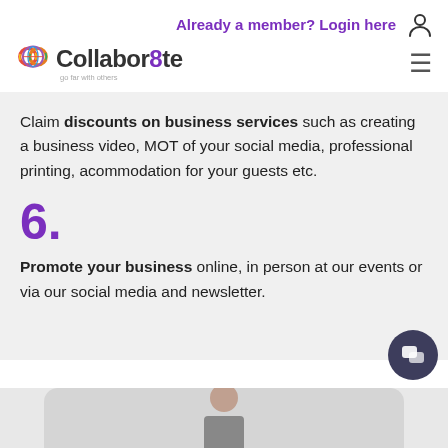Already a member? Login here
[Figure (logo): Collabor8te logo with colorful figure-8 graphic and tagline 'go far with others']
Claim discounts on business services such as creating a business video, MOT of your social media, professional printing, acommodation for your guests etc.
6.
Promote your business online, in person at our events or via our social media and newsletter.
[Figure (photo): Partial view of a person at the bottom of the page]